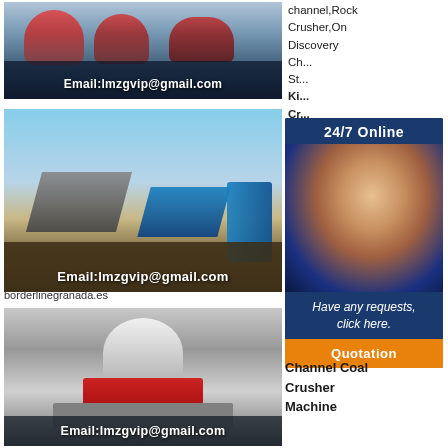[Figure (photo): Industrial crusher machines in a factory/showroom setting with Email:lmzgvip@gmail.com overlay]
[Figure (photo): Outdoor mining/crushing site with conveyor belts and equipment, Email:lmzgvip@gmail.com overlay]
borderlinegranada.es
channel,Rock Crusher,On Discovery Ch... St...
[Figure (infographic): 24/7 Online customer service widget showing woman with headset, 'Have any requests, click here.' text and Quotation button]
[Figure (photo): White industrial crushing machine in factory setting with Email:lmzgvip@gmail.com overlay]
Ki... Cr...
Channel Coal Crusher Machine